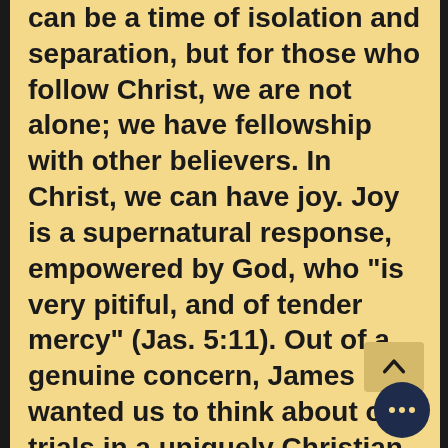can be a time of isolation and separation, but for those who follow Christ, we are not alone; we have fellowship with other believers. In Christ, we can have joy. Joy is a supernatural response, empowered by God, who "is very pitiful, and of tender mercy" (Jas. 5:11). Out of a genuine concern, James wanted us to think about our trials in a uniquely Christian way: not complaining, whining, or grumbling, but with "all joy".